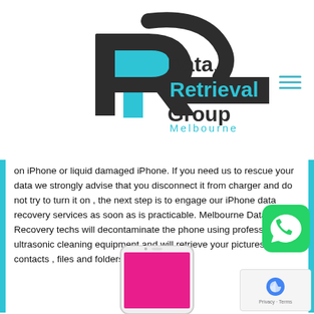[Figure (logo): Data Retrieval Group Melbourne logo with stylized 'R' arrow icon in dark grey and cyan blue]
[Figure (other): Hamburger menu icon (three horizontal cyan lines)]
on iPhone or liquid damaged iPhone. If you need us to rescue your data we strongly advise that you disconnect it from charger and do not try to turn it on , the next step is to engage our iPhone data recovery services as soon as is practicable. Melbourne Data Recovery techs will decontaminate the phone using professional ultrasonic cleaning equipment and will retrieve your pictures , contacts , files and folders etc.
[Figure (photo): Bottom portion of a white iPhone with a pink/magenta screen visible]
[Figure (logo): WhatsApp icon - green rounded square with white speech bubble phone icon]
[Figure (other): Google reCAPTCHA badge with spinning logo and Privacy/Terms links]